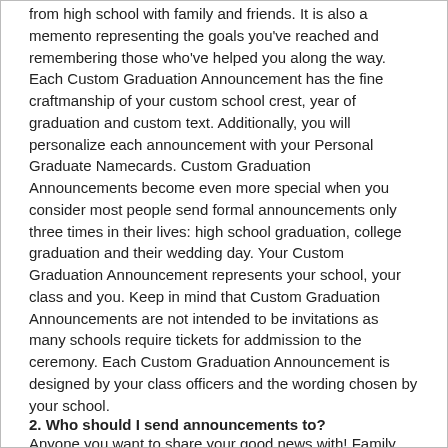from high school with family and friends. It is also a memento representing the goals you've reached and remembering those who've helped you along the way. Each Custom Graduation Announcement has the fine craftmanship of your custom school crest, year of graduation and custom text. Additionally, you will personalize each announcement with your Personal Graduate Namecards. Custom Graduation Announcements become even more special when you consider most people send formal announcements only three times in their lives: high school graduation, college graduation and their wedding day. Your Custom Graduation Announcement represents your school, your class and you. Keep in mind that Custom Graduation Announcements are not intended to be invitations as many schools require tickets for addmission to the ceremony. Each Custom Graduation Announcement is designed by your class officers and the wording chosen by your school.
2. Who should I send announcements to?
Anyone you want to share your good news with! Family, friends, mom & dad's co-workers. This is a big deal!
3. Why do I get 50 namecards?
Namecards only come in boxes of 50 because that is the